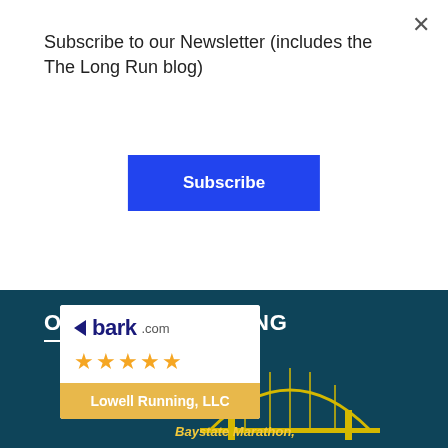Subscribe to our Newsletter (includes the The Long Run blog)
Subscribe
[Figure (logo): Bark.com logo with 5 gold stars and 'Lowell Running, LLC' label on gold background]
OFFICIAL COACHING
[Figure (logo): Baystate Marathon, Half Marathon & Half Marathon Relay 2019 logo with Ashworth Awards branding and bridge illustration in yellow/gold on dark teal background]